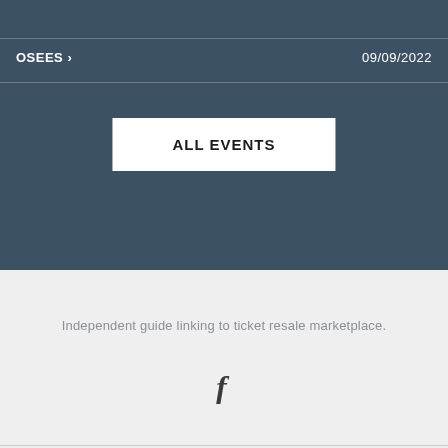OSEES >   09/09/2022
ALL EVENTS
Independent guide linking to ticket resale marketplace.
[Figure (illustration): Facebook logo icon (letter f)]